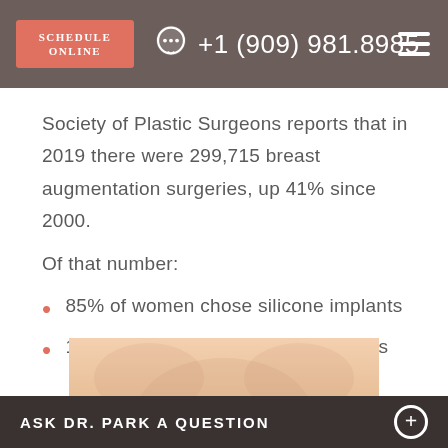SCHEDULE ONLINE  +1 (909) 981.8985
Society of Plastic Surgeons reports that in 2019 there were 299,715 breast augmentation surgeries, up 41% since 2000.
Of that number:
85% of women chose silicone implants
15% of women chose saline implants
[Figure (photo): Partial photo of a woman's torso, skin-toned, visible at bottom of page]
ASK DR. PARK A QUESTION +